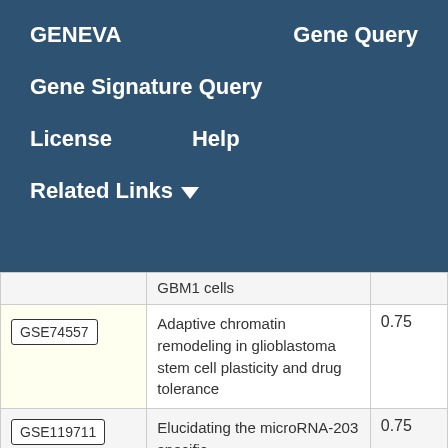GENEVA   Gene Query
Gene Signature Query
License   Help
Related Links
| GSE | Description | Score |
| --- | --- | --- |
|  | GBM1 cells |  |
| GSE74557 | Adaptive chromatin remodeling in glioblastoma stem cell plasticity and drug tolerance | 0.75 |
| GSE119711 | Elucidating the microRNA-203 specific | 0.75 |